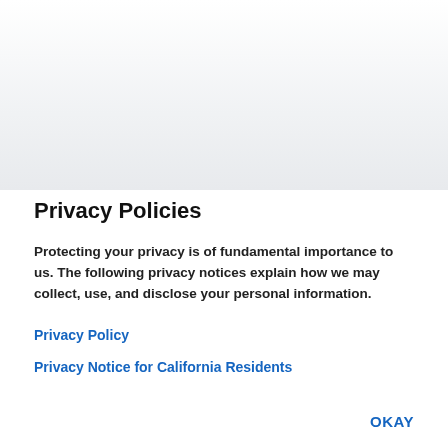[Figure (other): Gray gradient header bar area at the top of the page]
Privacy Policies
Protecting your privacy is of fundamental importance to us. The following privacy notices explain how we may collect, use, and disclose your personal information.
Privacy Policy
Privacy Notice for California Residents
OKAY